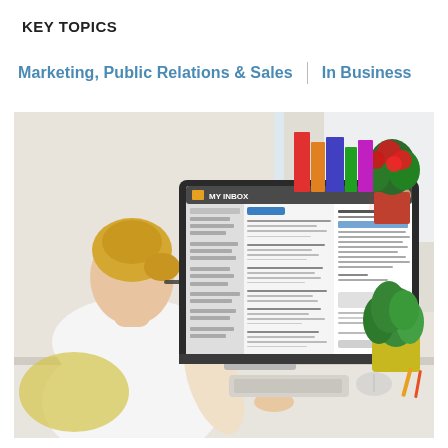KEY TOPICS
Marketing, Public Relations & Sales  |  In Business
[Figure (photo): A woman with blonde hair and glasses seen from behind, sitting at a white desk and looking at a large desktop monitor displaying an email inbox interface labeled 'MY INBOX'. A green plant in a yellow pot and a red flowering plant are visible on the right. The setting appears to be a bright home office.]